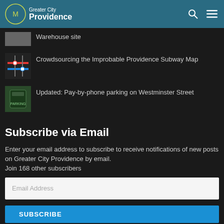Greater City Providence
Warehouse site
Crowdsourcing the Improbable Providence Subway Map
Updated: Pay-by-phone parking on Westminster Street
Subscribe via Email
Enter your email address to subscribe to receive notifications of new posts on Greater City Providence by email.
Join 168 other subscribers
Email Address
SUBSCRIBE